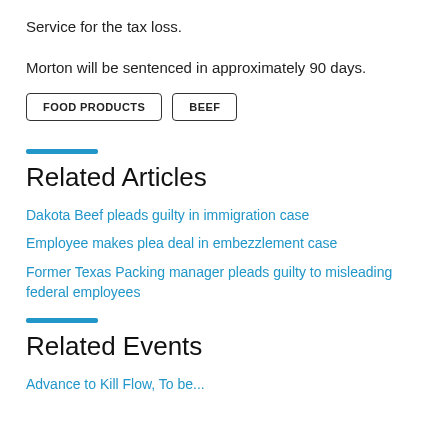Service for the tax loss.
Morton will be sentenced in approximately 90 days.
FOOD PRODUCTS
BEEF
Related Articles
Dakota Beef pleads guilty in immigration case
Employee makes plea deal in embezzlement case
Former Texas Packing manager pleads guilty to misleading federal employees
Related Events
Advance to Kill Flow, To be...